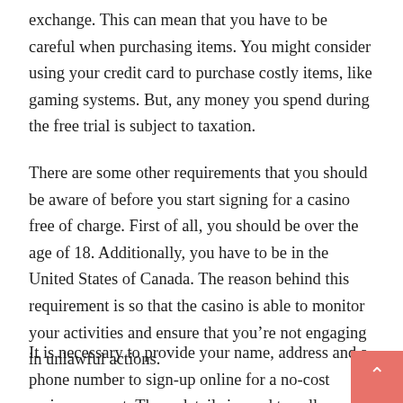exchange. This can mean that you have to be careful when purchasing items. You might consider using your credit card to purchase costly items, like gaming systems. But, any money you spend during the free trial is subject to taxation.
There are some other requirements that you should be aware of before you start signing for a casino free of charge. First of all, you should be over the age of 18. Additionally, you have to be in the United States of Canada. The reason behind this requirement is so that the casino is able to monitor your activities and ensure that you’re not engaging in unlawful actions.
It is necessary to provide your name, address and a phone number to sign-up online for a no-cost casino account. These details is used to call you in the future to ensure that you are acting in a proper manner. Don’t be afraid to give out your